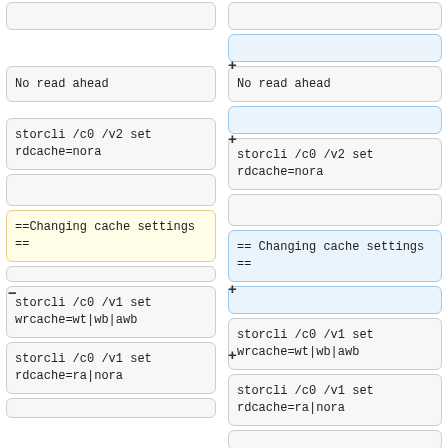[Figure (flowchart): Diff view showing two columns (left and right) of flowchart-style boxes representing wiki markup changes. Left column shows old version with boxes: empty box, 'No read ahead', empty box, 'storcli /c0 /v2 set rdcache=nora', empty box, '==Changing cache settings ==' (yellow highlight, minus marker), empty box, 'storcli /c0 /v1 set wrcache=wt|wb|awb', 'storcli /c0 /v1 set rdcache=ra|nora', empty box. Right column shows new version with boxes: empty box (blue), '+' marker then blue empty box, 'No read ahead', '+' marker then blue empty box, 'storcli /c0 /v2 set rdcache=nora', empty box, '== Changing cache settings ==' (blue, '+' marker), '+' marker then blue empty box, 'storcli /c0 /v1 set wrcache=wt|wb|awb', 'storcli /c0 /v1 set rdcache=ra|nora', empty box.]